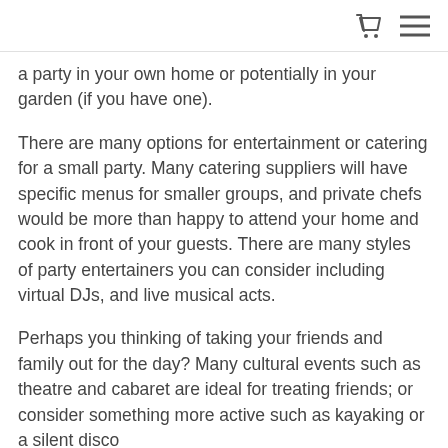[cart icon] [menu icon]
a party in your own home or potentially in your garden (if you have one).
There are many options for entertainment or catering for a small party. Many catering suppliers will have specific menus for smaller groups, and private chefs would be more than happy to attend your home and cook in front of your guests. There are many styles of party entertainers you can consider including virtual DJs, and live musical acts.
Perhaps you thinking of taking your friends and family out for the day? Many cultural events such as theatre and cabaret are ideal for treating friends; or consider something more active such as kayaking or a silent disco